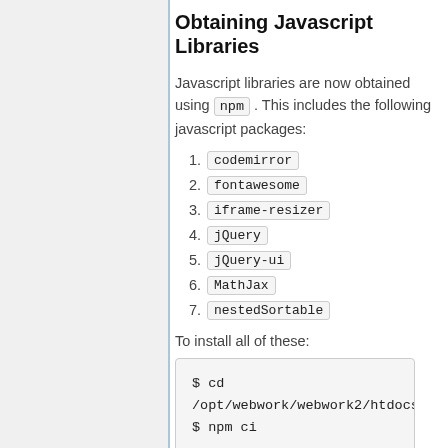Obtaining Javascript Libraries
Javascript libraries are now obtained using npm . This includes the following javascript packages:
codemirror
fontawesome
iframe-resizer
jQuery
jQuery-ui
MathJax
nestedSortable
To install all of these:
$ cd /opt/webwork/webwork2/htdocs
$ npm ci